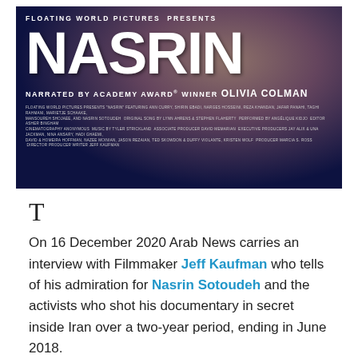[Figure (illustration): Movie poster for NASRIN. Dark navy/maroon background with a woman's silhouette. Text reads: FLOATING WORLD PICTURES PRESENTS / NASRIN / NARRATED BY ACADEMY AWARD® WINNER OLIVIA COLMAN / Credits block with cast and crew names.]
T
On 16 December 2020 Arab News carries an interview with Filmmaker Jeff Kaufman who tells of his admiration for Nasrin Sotoudeh and the activists who shot his documentary in secret inside Iran over a two-year period, ending in June 2018.